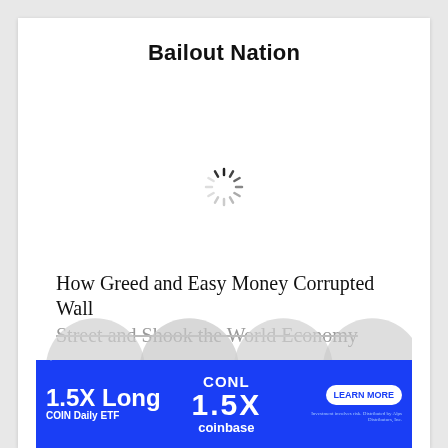Bailout Nation
[Figure (other): Loading spinner (circular dashed spinner icon) centered in white content area]
How Greed and Easy Money Corrupted Wall Street and Shook the World Economy
[Figure (other): Advertisement banner: graniteshares logo, 1.5X Long COIN Daily ETF, CONL, 1.5X, coinbase, LEARN MORE button, disclaimer text, close button]